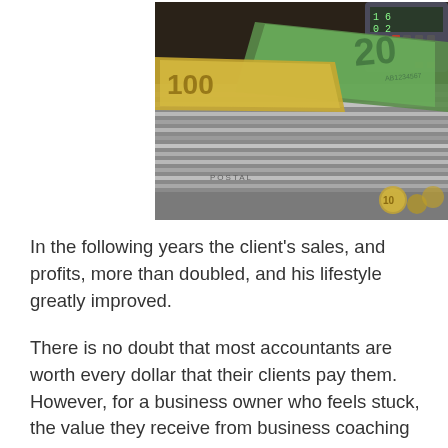[Figure (photo): A photograph of stacked paper files and envelopes with Australian banknotes (a $100 note in yellow and a $20 note in green) on top, along with coins and a calculator visible in the background.]
In the following years the client's sales, and profits, more than doubled, and his lifestyle greatly improved.
There is no doubt that most accountants are worth every dollar that their clients pay them. However, for a business owner who feels stuck, the value they receive from business coaching is the clarity, confidence, and